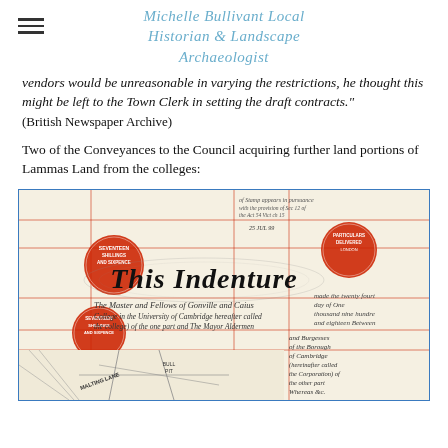Michelle Bullivant Local Historian & Landscape Archaeologist
vendors would be unreasonable in varying the restrictions, he thought this might be left to the Town Clerk in setting the draft contracts." (British Newspaper Archive)
Two of the Conveyances to the Council acquiring further land portions of Lammas Land from the colleges:
[Figure (photo): Scanned image of a historical legal indenture document titled 'This Indenture', featuring red wax stamp seals reading 'SEVENTEEN SHILLINGS AND SIXPENCE', handwritten cursive text referencing 'The Master and Fellows of Gonville and Caius College' and 'The Mayor Aldermen and Burgesses of the Borough of Cambridge', with a map portion at the bottom showing 'MALTING LANE' and 'BULL PIT', overlaid with red grid lines and a blue border.]